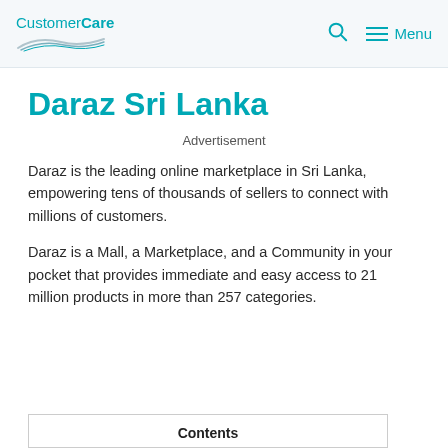CustomerCare [logo with wing graphic] | Search icon | Menu
Daraz Sri Lanka
Advertisement
Daraz is the leading online marketplace in Sri Lanka, empowering tens of thousands of sellers to connect with millions of customers.
Daraz is a Mall, a Marketplace, and a Community in your pocket that provides immediate and easy access to 21 million products in more than 257 categories.
Contents